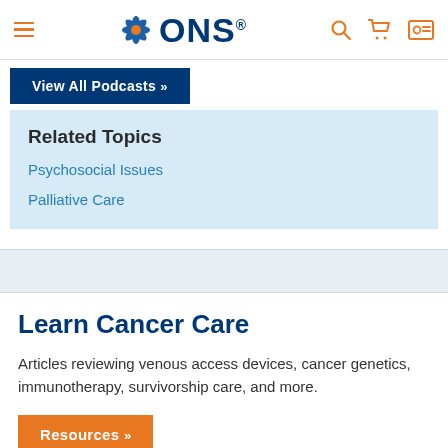[Figure (logo): ONS (Oncology Nursing Society) logo with blue starburst emblem and orange navigation icons]
View All Podcasts »
Related Topics
Psychosocial Issues
Palliative Care
Learn Cancer Care
Articles reviewing venous access devices, cancer genetics, immunotherapy, survivorship care, and more.
Resources »